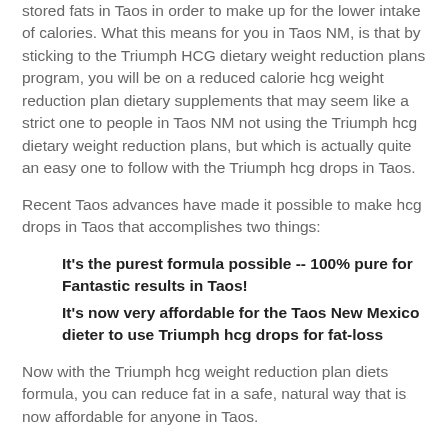stored fats in Taos in order to make up for the lower intake of calories. What this means for you in Taos NM, is that by sticking to the Triumph HCG dietary weight reduction plans program, you will be on a reduced calorie hcg weight reduction plan dietary supplements that may seem like a strict one to people in Taos NM not using the Triumph hcg dietary weight reduction plans, but which is actually quite an easy one to follow with the Triumph hcg drops in Taos.
Recent Taos advances have made it possible to make hcg drops in Taos that accomplishes two things:
It’s the purest formula possible -- 100% pure for Fantastic results in Taos!
It’s now very affordable for the Taos New Mexico dieter to use Triumph hcg drops for fat-loss
Now with the Triumph hcg weight reduction plan diets formula, you can reduce fat in a safe, natural way that is now affordable for anyone in Taos.
The Four Benefits of the Triumph Hcg Diet.
Triumph HCG drops combine a revolutionary dietary protocol